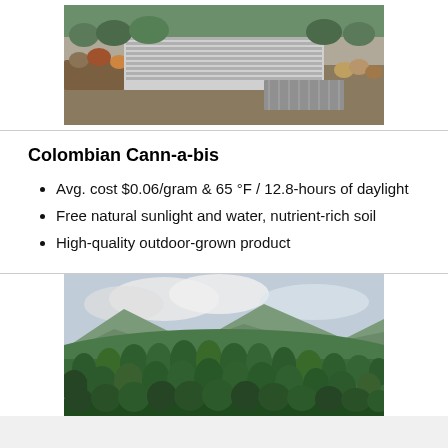[Figure (photo): Aerial drone view of a large industrial greenhouse/cannabis facility with parking lots and surrounding trees in autumn]
Colombian Cann-a-bis
Avg. cost $0.06/gram & 65 °F / 12.8-hours of daylight
Free natural sunlight and water, nutrient-rich soil
High-quality outdoor-grown product
[Figure (photo): Aerial view of a large cannabis field growing on green hillsides with mountains and cloudy sky in the background]